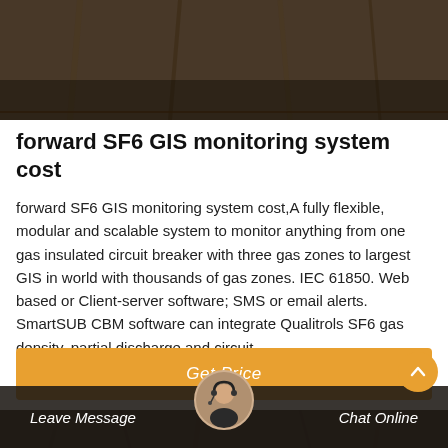[Figure (photo): Top portion showing industrial/electrical equipment (GIS substation) with dark brownish-grey tones]
forward SF6 GIS monitoring system cost
forward SF6 GIS monitoring system cost,A fully flexible, modular and scalable system to monitor anything from one gas insulated circuit breaker with three gas zones to largest GIS in world with thousands of gas zones. IEC 61850. Web based or Client-server software; SMS or email alerts. SmartSUB CBM software can integrate Qualitrols SF6 gas density, partial discharge and circuit
[Figure (photo): Bottom portion showing industrial electrical towers/pylons with dark overlay bar and customer service avatar]